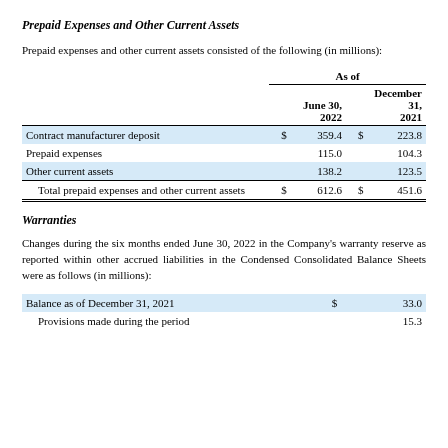Prepaid Expenses and Other Current Assets
Prepaid expenses and other current assets consisted of the following (in millions):
|  | As of June 30, 2022 |  | As of December 31, 2021 |  |
| --- | --- | --- | --- | --- |
| Contract manufacturer deposit | $ | 359.4 | $ | 223.8 |
| Prepaid expenses |  | 115.0 |  | 104.3 |
| Other current assets |  | 138.2 |  | 123.5 |
| Total prepaid expenses and other current assets | $ | 612.6 | $ | 451.6 |
Warranties
Changes during the six months ended June 30, 2022 in the Company's warranty reserve as reported within other accrued liabilities in the Condensed Consolidated Balance Sheets were as follows (in millions):
|  |  |  |
| --- | --- | --- |
| Balance as of December 31, 2021 | $ | 33.0 |
| Provisions made during the period |  | 15.3 |